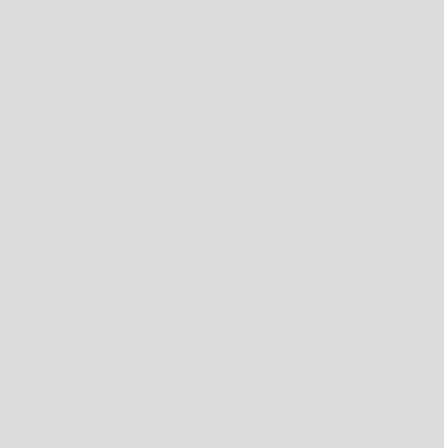[Figure (screenshot): Game thumbnail for Lego City: Airport showing a spacecraft/plane from top-down view]
Lego City: Airport
[Figure (screenshot): Game thumbnail for Rush Ho... (partially visible, shows colorful scene)]
Rush Ho...
[Figure (screenshot): Game thumbnail for Crowd City 2 showing red and purple characters on a road]
Crowd City 2
[Figure (screenshot): Game thumbnail for City Bu... (partially visible)]
City Bu...
[Figure (screenshot): Game thumbnail for AntiVillain 1: Welcome... showing fighting characters]
AntiVillain 1: Welcome...
[Figure (screenshot): Game thumbnail for Wild Anim... (partially visible, shows nature scene)]
Wild Anim...